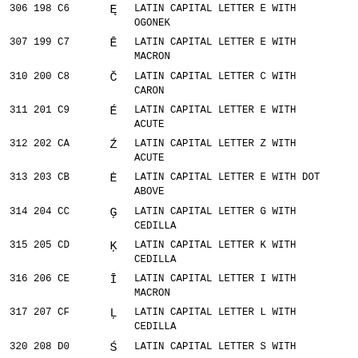| Oct Dec Hex | Char | Name |
| --- | --- | --- |
| 306 198 C6 | Ę | LATIN CAPITAL LETTER E WITH OGONEK |
| 307 199 C7 | Ē | LATIN CAPITAL LETTER E WITH MACRON |
| 310 200 C8 | Č | LATIN CAPITAL LETTER C WITH CARON |
| 311 201 C9 | É | LATIN CAPITAL LETTER E WITH ACUTE |
| 312 202 CA | Ź | LATIN CAPITAL LETTER Z WITH ACUTE |
| 313 203 CB | Ė | LATIN CAPITAL LETTER E WITH DOT ABOVE |
| 314 204 CC | Ģ | LATIN CAPITAL LETTER G WITH CEDILLA |
| 315 205 CD | Ķ | LATIN CAPITAL LETTER K WITH CEDILLA |
| 316 206 CE | Ī | LATIN CAPITAL LETTER I WITH MACRON |
| 317 207 CF | Ļ | LATIN CAPITAL LETTER L WITH CEDILLA |
| 320 208 D0 | Ś | LATIN CAPITAL LETTER S WITH |